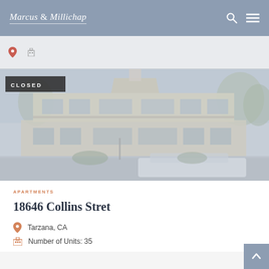Marcus & Millichap
[Figure (photo): Exterior photo of two-story apartment building at 18646 Collins Street in Tarzana, CA. A white vehicle is parked in front. The image has a faded/muted appearance with a 'CLOSED' badge overlay in the upper left corner.]
APARTMENTS
18646 Collins Stret
Tarzana, CA
Number of Units: 35